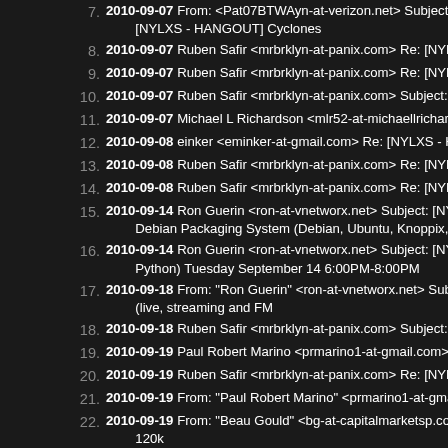7. 2010-09-07 From: <Pat07BTWAyn-at-verizon.net> Subject: [NYLXS - HANGOUT] Cyclones
8. 2010-09-07 Ruben Safir <mrbrklyn-at-panix.com> Re: [NYLXS - HANGOUT]
9. 2010-09-07 Ruben Safir <mrbrklyn-at-panix.com> Re: [NYLXS - HANGOUT]
10. 2010-09-07 Ruben Safir <mrbrklyn-at-panix.com> Subject: [NYLXS -
11. 2010-09-07 Michael L Richardson <mlr52-at-michaellrichardson.com>
12. 2010-09-08 einker <eminker-at-gmail.com> Re: [NYLXS - HANGOUT]
13. 2010-09-08 Ruben Safir <mrbrklyn-at-panix.com> Re: [NYLXS - HANGOUT]
14. 2010-09-08 Ruben Safir <mrbrklyn-at-panix.com> Re: [NYLXS - HANGOUT]
15. 2010-09-14 Ron Guerin <ron-at-vnetworx.net> Subject: [NYLXS - HANGOUT] Debian Packaging System (Debian, Ubuntu, Knoppix, Fink, Mint, gNe
16. 2010-09-14 Ron Guerin <ron-at-vnetworx.net> Subject: [NYLXS - HANGOUT] Python) Tuesday September 14 6:00PM-8:00PM
17. 2010-09-18 From: "Ron Guerin" <ron-at-vnetworx.net> Subject: [NYLXS - HANGOUT] (live, streaming and FM
18. 2010-09-18 Ruben Safir <mrbrklyn-at-panix.com> Subject: [NYLXS -
19. 2010-09-19 Paul Robert Marino <prmarino1-at-gmail.com> Re: [NYLXS -
20. 2010-09-19 Ruben Safir <mrbrklyn-at-panix.com> Re: [NYLXS - HANGOUT]
21. 2010-09-19 From: "Paul Robert Marino" <prmarino1-at-gmail.com> R
22. 2010-09-19 From: "Beau Gould" <bg-at-capitalmarketsp.com> Subject: 120k
23. 2010-09-19 Ruben Safir <mrbrklyn-at-panix.com> Re: [NYLXS - HANGOUT]
24. 2010-09-19 From: "Paul Robert Marino" <prmarino1-at-gmail.com> R
25. 2010-09-19 Ruben Safir <mrbrklyn-at-panix.com> Re: [NYLXS - HANGOUT]
26. 2010-09-20 Ruben Safir <mrbrklyn-at-panix.com> Re: [NYLXS - HANGOUT]
27. 2010-09-21 Ruben Safir <mrbrklyn-at-panix.com> Subject: [NYLXS -
28. 2010-09-28 Ron Guerin <ron-at-vnetworx.net> Subject: [NYLXS - H